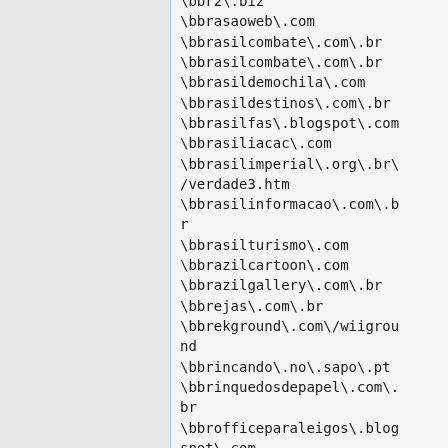\bbr2\.biz
\bbrasaoweb\.com
\bbrasilcombate\.com\.br
\bbrasilcombate\.com\.br
\bbrasildemochila\.com
\bbrasildestinos\.com\.br
\bbrasilfas\.blogspot\.com
\bbrasiliacac\.com
\bbrasilimperial\.org\.br\/verdade3.htm
\bbrasilinformacao\.com\.br
\bbrasilturismo\.com
\bbrazilcartoon\.com
\bbrazilgallery\.com\.br
\bbrejas\.com\.br
\bbrekground\.com\/wiiground
\bbrincando\.no\.sapo\.pt
\bbrinquedosdepapel\.com\.br
\bbrofficeparaleigos\.blogspot\.com
\bbronquite\.com
\bbruxaria\.org